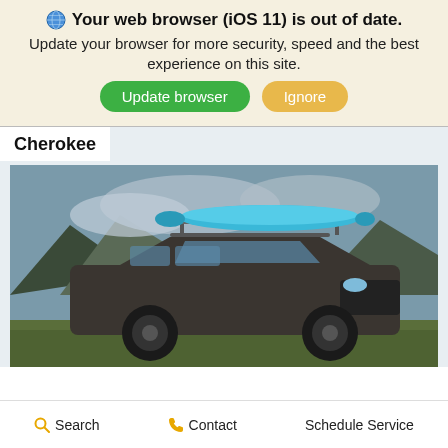Your web browser (iOS 11) is out of date.
Update your browser for more security, speed and the best experience on this site.
Update browser | Ignore
Cherokee
[Figure (photo): A dark grey Jeep Cherokee SUV with a blue kayak on roof rack, parked on grass with mountains and cloudy sky in the background.]
Search   Contact   Schedule Service